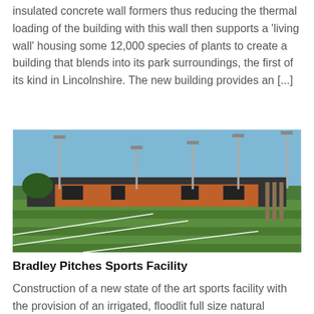insulated concrete wall formers thus reducing the thermal loading of the building with this wall then supports a 'living wall' housing some 12,000 species of plants to create a building that blends into its park surroundings, the first of its kind in Lincolnshire. The new building provides an [...]
[Figure (photo): Exterior photograph of Bradley Pitches Sports Facility showing a brick building with floodlights on tall poles, and a green sports pitch in the foreground with white line markings.]
Bradley Pitches Sports Facility
Construction of a new state of the art sports facility with the provision of an irrigated, floodlit full size natural Premier pitch with seating, one full